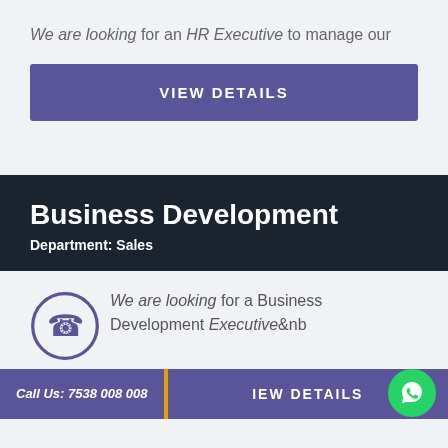We are looking for an HR Executive to manage our
VIEW DETAILS
Business Development
Department: Sales
We are looking for a Business Development Executive&nb
Call Us: 7538 008 008
IEW DETAILS